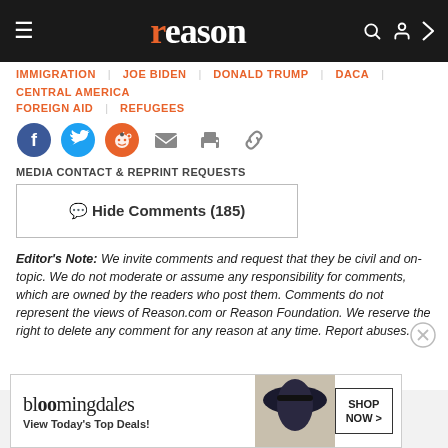reason
IMMIGRATION  JOE BIDEN  DONALD TRUMP  DACA  CENTRAL AMERICA  FOREIGN AID  REFUGEES
[Figure (infographic): Social sharing icons: Facebook, Twitter, Reddit, Email, Print, Link]
MEDIA CONTACT & REPRINT REQUESTS
Hide Comments (185)
Editor's Note: We invite comments and request that they be civil and on-topic. We do not moderate or assume any responsibility for comments, which are owned by the readers who post them. Comments do not represent the views of Reason.com or Reason Foundation. We reserve the right to delete any comment for any reason at any time. Report abuses.
IceTrey
January...
I'm pre...
[Figure (photo): Bloomingdale's advertisement banner: View Today's Top Deals! SHOP NOW >]